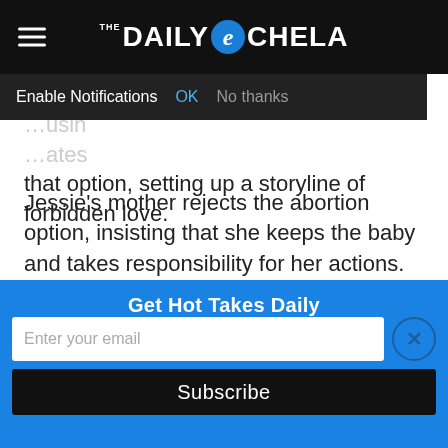THE DAILY eCHELA
Enable Notifications  OK  No thanks
…usin …ates that option, setting up a storyline of forbidden love.
Jessie's mother rejects the abortion option, insisting that she keeps the baby and takes responsibility for her actions. Jacob's father insists the same, forcing Jacob to give up his scholarship, college dreams, and true love.
All the while Ma—
Get Hot Takes Daily
Enter your email
Subscribe